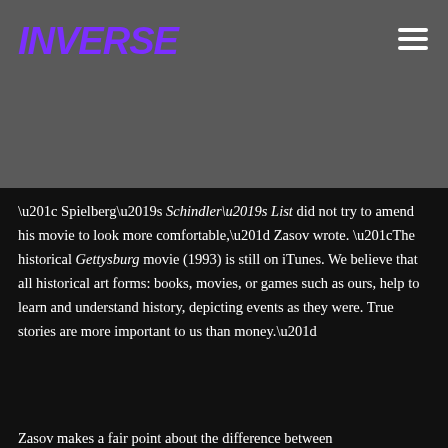INVERSE
“Spielberg’s Schindler’s List did not try to amend his movie to look more comfortable,” Zasov wrote. “The historical Gettysburg movie (1993) is still on iTunes. We believe that all historical art forms: books, movies, or games such as ours, help to learn and understand history, depicting events as they were. True stories are more important to us than money.”
Zasov makes a fair point about the difference between